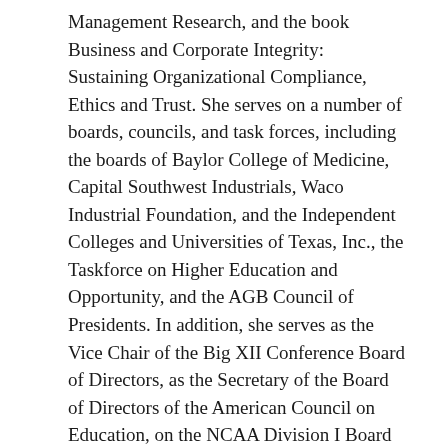Management Research, and the book Business and Corporate Integrity: Sustaining Organizational Compliance, Ethics and Trust. She serves on a number of boards, councils, and task forces, including the boards of Baylor College of Medicine, Capital Southwest Industrials, Waco Industrial Foundation, and the Independent Colleges and Universities of Texas, Inc., the Taskforce on Higher Education and Opportunity, and the AGB Council of Presidents. In addition, she serves as the Vice Chair of the Big XII Conference Board of Directors, as the Secretary of the Board of Directors of the American Council on Education, on the NCAA Division I Board of Directors, and on the NCAA Board of Governors.
Dr. Livingstone was inducted into Oklahoma State University's Hall of Fame in 2019. She is a member of the Spears School of Business Hall of Fame, was the first recipient of the Outstanding Ph.D. Alumnus